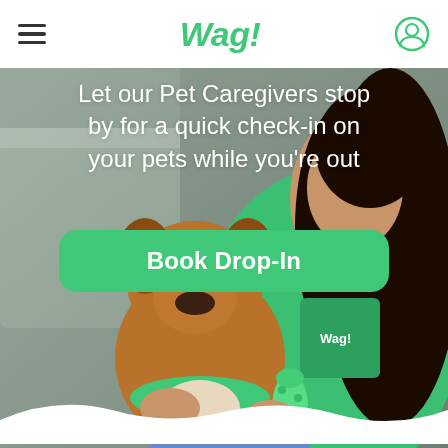Wag!
[Figure (photo): A woman in a green Wag! t-shirt sitting on a couch holding a brown French Bulldog wearing a green bandana and holding a green chew toy]
Let our Pet Caregivers stop by for a quick check-in on your pets while you're out
Book Drop-In